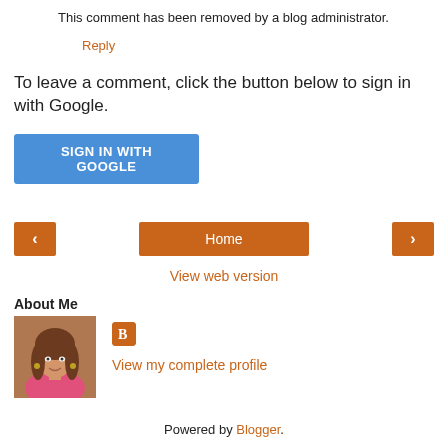This comment has been removed by a blog administrator.
Reply
To leave a comment, click the button below to sign in with Google.
SIGN IN WITH GOOGLE
[Figure (other): Navigation bar with left arrow button, Home center button, and right arrow button, all in orange/brown color]
View web version
About Me
[Figure (photo): Profile photo of a woman with brown hair wearing a pink top]
[Figure (logo): Blogger icon - orange square with white B letter]
View my complete profile
Powered by Blogger.